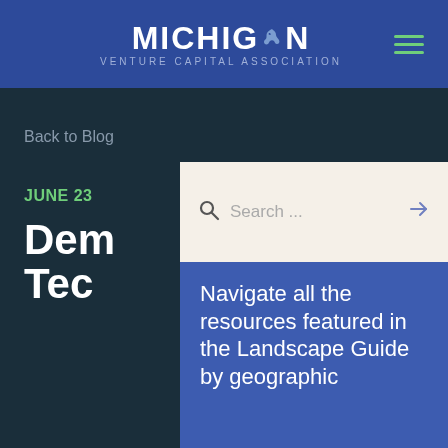MICHIGAN VENTURE CAPITAL ASSOCIATION
Back to Blog
JUNE 23
Dem Tec
Search ...
Navigate all the resources featured in the Landscape Guide by geographic